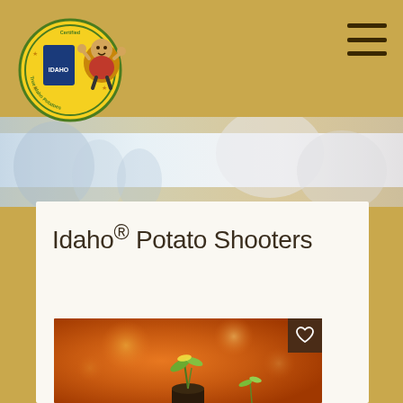[Figure (logo): Idaho Potato Commission certified logo with cartoon potato mascot character giving thumbs up]
[Figure (photo): Blurred hero banner image showing a woman and child in a kitchen, soft warm tones]
Idaho® Potato Shooters
[Figure (photo): Close-up photo of Idaho potato shooters dish with orange warm bokeh background and small plant garnish in a dark pot]